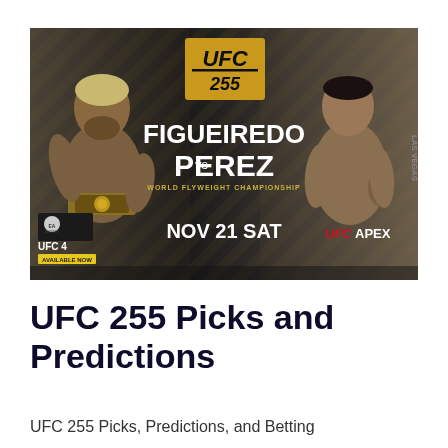[Figure (photo): UFC 255 promotional banner showing Deiveson Figueiredo vs Brandon Moreno. Features both fighters facing each other. Center shows UFC 255 gold logo. Text reads FIGUEIREDO vs PEREZ, WORLD FLYWEIGHT CHAMPIONSHIP, NOV 21 SAT, UFC APEX. Bottom left shows EA Sports UFC 4 AVAILABLE NOW.]
UFC 255 Picks and Predictions
UFC 255 Picks, Predictions, and Betting